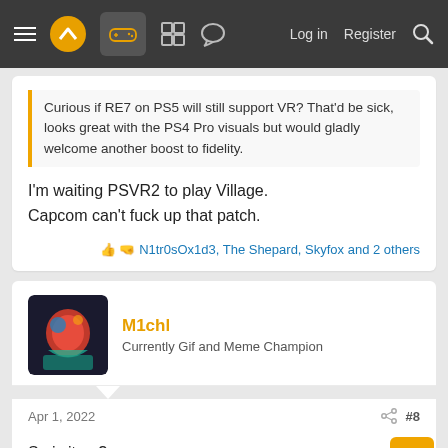Navigation bar with menu, logo, gamepad icon, grid icon, chat icon, Log in, Register, Search
Curious if RE7 on PS5 will still support VR? That'd be sick, looks great with the PS4 Pro visuals but would gladly welcome another boost to fidelity.
I'm waiting PSVR2 to play Village.
Capcom can't fuck up that patch.
N1tr0sOx1d3, The Shepard, Skyfox and 2 others
M1chl
Currently Gif and Meme Champion
Apr 1, 2022
#8
So is it up?